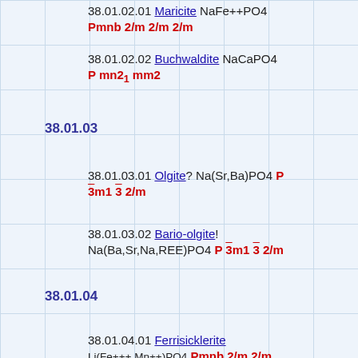38.01.02.01 Maricite NaFe++PO4 Pmnb 2/m 2/m 2/m
38.01.02.02 Buchwaldite NaCaPO4 P mn2₁ mm2
38.01.03
38.01.03.01 Olgite? Na(Sr,Ba)PO4 P 3̄m1 3̄ 2/m
38.01.03.02 Bario-olgite! Na(Ba,Sr,Na,REE)PO4 P 3̄m1 3̄ 2/m
38.01.04
38.01.04.01 Ferrisicklerite Li(Fe+++,Mn++)PO4 Pmnb 2/m 2/m 2/m
38.01.04.02 Sicklerite Li(Mn++,Fe+++)PO4 Pmnb 2/m 2/m 2/m
38.01.05
38.01.05.01 Berylonite NaBePO4 P